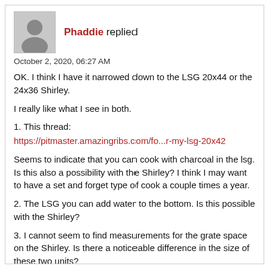Phaddie replied
October 2, 2020, 06:27 AM
OK. I think I have it narrowed down to the LSG 20x44 or the 24x36 Shirley.
I really like what I see in both.
1. This thread:
https://pitmaster.amazingribs.com/fo...r-my-lsg-20x42
Seems to indicate that you can cook with charcoal in the lsg. Is this also a possibility with the Shirley? I think I may want to have a set and forget type of cook a couple times a year.
2. The LSG you can add water to the bottom. Is this possible with the Shirley?
3. I cannot seem to find measurements for the grate space on the Shirley. Is there a noticeable difference in the size of these two units?
Thanks in advance.
Phad